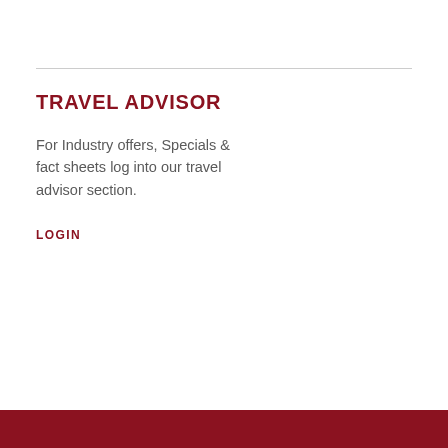TRAVEL ADVISOR
For Industry offers, Specials & fact sheets log into our travel advisor section.
LOGIN